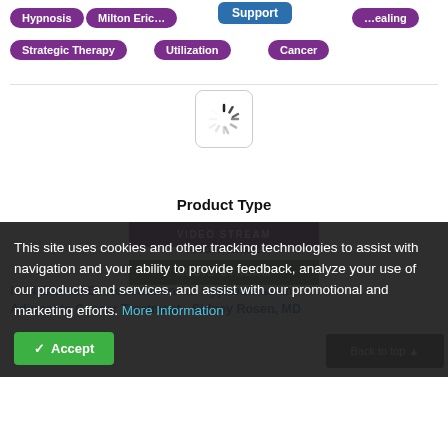Hypnosis
Milton Erickson
Support
Healing
Strategic Therapy
Utilization
Cancer
[Figure (other): Loading spinner icon inside a rounded rectangle box]
Product Type
VIDEO STREAM
Also Available
AUDIO STREAM
IC04 Clinical Demonstration 11: Hypnosis as an Adjunct to Cancer Treatment - Sidney Rosen, MD
This site uses cookies and other tracking technologies to assist with navigation and your ability to provide feedback, analyze your use of our products and services, and assist with our promotional and marketing efforts. More Information
Accept